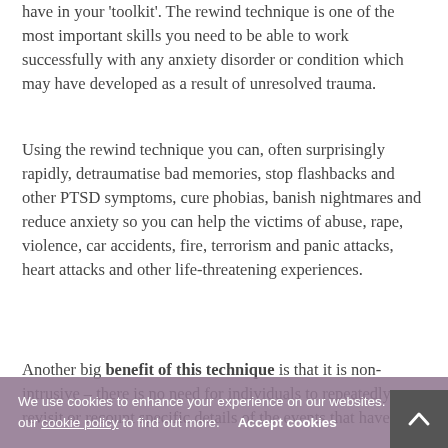have in your 'toolkit'. The rewind technique is one of the most important skills you need to be able to work successfully with any anxiety disorder or condition which may have developed as a result of unresolved trauma.
Using the rewind technique you can, often surprisingly rapidly, detraumatise bad memories, stop flashbacks and other PTSD symptoms, cure phobias, banish nightmares and reduce anxiety so you can help the victims of abuse, rape, violence, car accidents, fire, terrorism and panic attacks, heart attacks and other life-threatening experiences.
Another big benefit of this technique is that it is non-intrusive – there is no need for individuals to repeatedly revisit or recount specific details of the events that have
We use cookies to enhance your experience on our websites. Read our cookie policy to find out more. Accept cookies